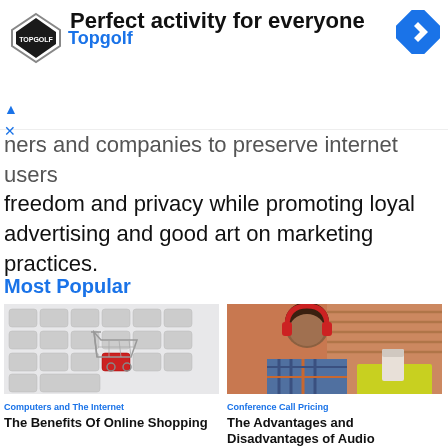[Figure (screenshot): Topgolf advertisement banner with logo, headline 'Perfect activity for everyone', Topgolf text, navigation icon, and ad controls]
ners and companies to preserve internet users freedom and privacy while promoting loyal advertising and good art on marketing practices.
Most Popular
[Figure (photo): Mini shopping cart on a keyboard with a red key]
Computers and The Internet
The Benefits Of Online Shopping
[Figure (photo): Person with red headphones working on a laptop]
Conference Call Pricing
The Advantages and Disadvantages of Audio Conference Calls